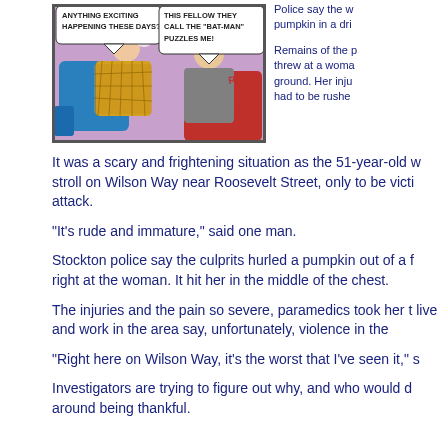[Figure (illustration): Comic book panel showing two men sitting and talking, one in a yellow plaid suit and one in a gray suit, with speech bubbles reading 'ANYTHING EXCITING HAPPENING THESE DAYS?' and 'THIS FELLOW THEY CALL THE "BAT-MAN" PUZZLES ME!']
Police say the w pumpkin in a dri
Remains of the p threw at a woma ground. Her inju had to be rushe
It was a scary and frightening situation as the 51-year-old w stroll on Wilson Way near Roosevelt Street, only to be victi attack.
"It's rude and immature," said one man.
Stockton police say the culprits hurled a pumpkin out of a f right at the woman. It hit her in the middle of the chest.
The injuries and the pain so severe, paramedics took her t live and work in the area say, unfortunately, violence in the
"Right here on Wilson Way, it's the worst that I've seen it," s
Investigators are trying to figure out why, and who would d around being thankful.